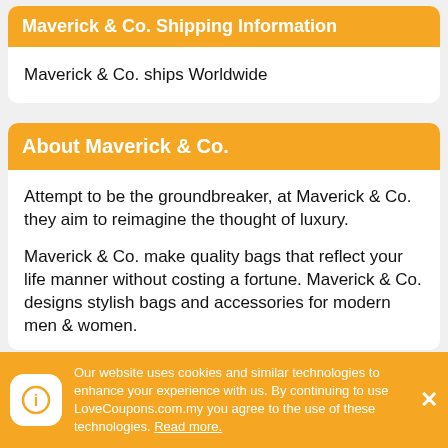Maverick & Co. Shipping Information
Maverick & Co. ships Worldwide
About Maverick & Co.
Attempt to be the groundbreaker, at Maverick & Co. they aim to reimagine the thought of luxury.
Maverick & Co. make quality bags that reflect your life manner without costing a fortune. Maverick & Co. designs stylish bags and accessories for modern men & women.
Our website uses cookies and similar technologies to enhance your experience with us. By continuing to use LoveCoupons.com.my you agree to the use of these technologies. Read more.